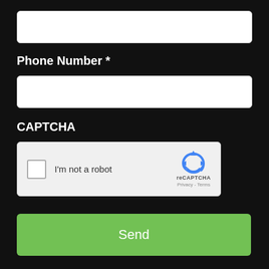[Figure (screenshot): Empty text input field with white background and rounded corners]
Phone Number *
[Figure (screenshot): Empty text input field for phone number with white background and rounded corners]
CAPTCHA
[Figure (screenshot): reCAPTCHA widget with checkbox labeled I'm not a robot and reCAPTCHA Privacy - Terms logo on right]
[Figure (screenshot): Green Send button]